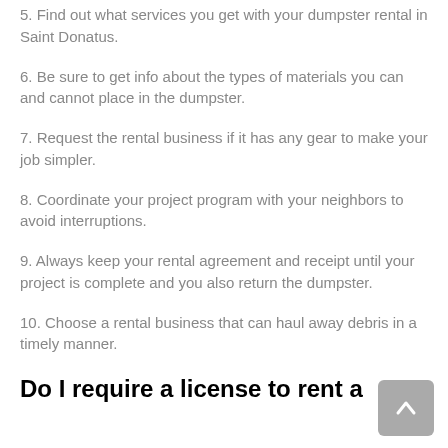5. Find out what services you get with your dumpster rental in Saint Donatus.
6. Be sure to get info about the types of materials you can and cannot place in the dumpster.
7. Request the rental business if it has any gear to make your job simpler.
8. Coordinate your project program with your neighbors to avoid interruptions.
9. Always keep your rental agreement and receipt until your project is complete and you also return the dumpster.
10. Choose a rental business that can haul away debris in a timely manner.
Do I require a license to rent a